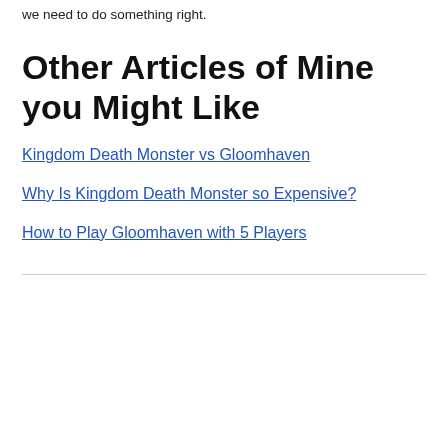we need to do something right.
Other Articles of Mine you Might Like
Kingdom Death Monster vs Gloomhaven
Why Is Kingdom Death Monster so Expensive?
How to Play Gloomhaven with 5 Players